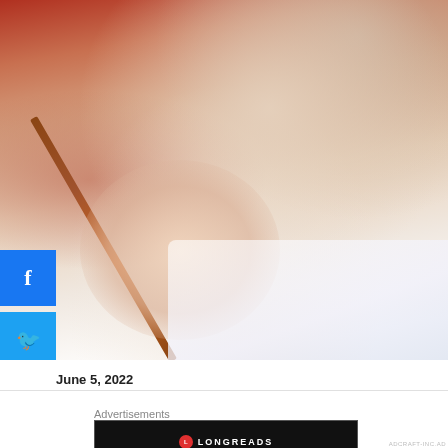[Figure (photo): Close-up photo of a young child writing in a notebook with a pencil, wearing a red shirt, focused on their work. Red and blue social share buttons (Facebook and Twitter) are overlaid on the left side.]
June 5, 2022
This website uses cookies to improve your experience. We'll
Advertisements
[Figure (logo): Longreads advertisement banner — black background with red Longreads logo circle and text 'LONGREADS' above the tagline 'Read anything great lately?']